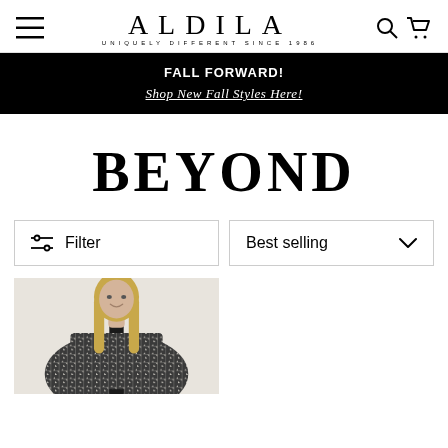ALDILA — UNIQUELY DIFFERENT SINCE 1986
FALL FORWARD! Shop New Fall Styles Here!
BEYOND
Filter
Best selling
[Figure (photo): Woman with long blonde hair wearing a black and white houndstooth pattern cape/poncho with a black trim, smiling, on a light background.]